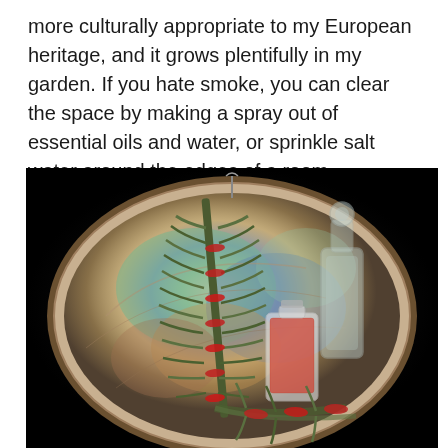more culturally appropriate to my European heritage, and it grows plentifully in my garden. If you hate smoke, you can clear the space by making a spray out of essential oils and water, or sprinkle salt water around the edges of a room.
[Figure (photo): A large iridescent abalone shell resting on a dark background, containing a bundle of green herbs tied with red thread (likely rosemary or juniper) and two small glass bottles — one containing red granules and one empty or with clear liquid.]